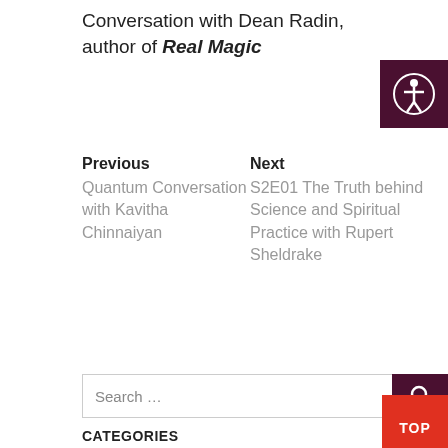Conversation with Dean Radin, author of Real Magic
Previous
Quantum Conversation with Kavitha Chinnaiyan
Next
S2E01 The Truth behind Science and Spiritual Practice with Rupert Sheldrake
Search …
CATEGORIES